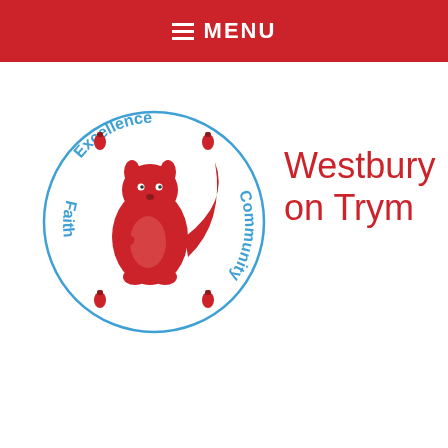MENU
[Figure (logo): Westbury on Trym school logo: a red squirrel in a circle with the words Excellence, Community, Faith around the border in blue text, with small red acorn decorations]
Westbury on Trym